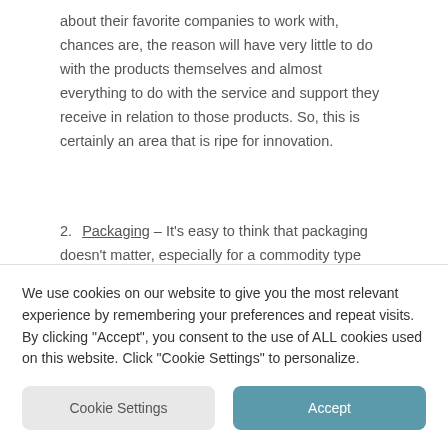about their favorite companies to work with, chances are, the reason will have very little to do with the products themselves and almost everything to do with the service and support they receive in relation to those products. So, this is certainly an area that is ripe for innovation.
2. Packaging – It's easy to think that packaging doesn't matter, especially for a commodity type product. But packaging can actually influence the way...
We use cookies on our website to give you the most relevant experience by remembering your preferences and repeat visits. By clicking "Accept", you consent to the use of ALL cookies used on this website. Click "Cookie Settings" to personalize.